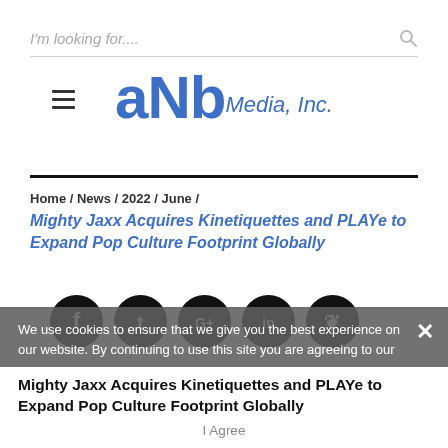I'm looking for....
[Figure (logo): aNb Media, Inc. logo with hamburger menu icon]
Home / News / 2022 / June /
Mighty Jaxx Acquires Kinetiquettes and PLAYe to Expand Pop Culture Footprint Globally
[Figure (infographic): Social share buttons: Facebook, Twitter, Google+, LinkedIn, Pinterest]
We use cookies to ensure that we give you the best experience on our website. By continuing to use this site you are agreeing to our
Mighty Jaxx Acquires Kinetiquettes and PLAYe to Expand Pop Culture Footprint Globally
I Agree